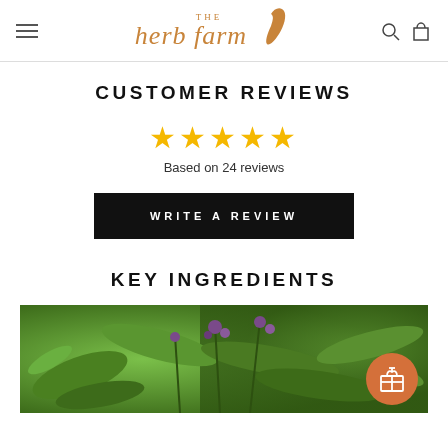The Herb Farm — navigation header with logo, hamburger menu, search and cart icons
CUSTOMER REVIEWS
[Figure (illustration): Five gold star rating]
Based on 24 reviews
WRITE A REVIEW
KEY INGREDIENTS
[Figure (photo): Close-up photo of herb plant with purple flowers and green leaves]